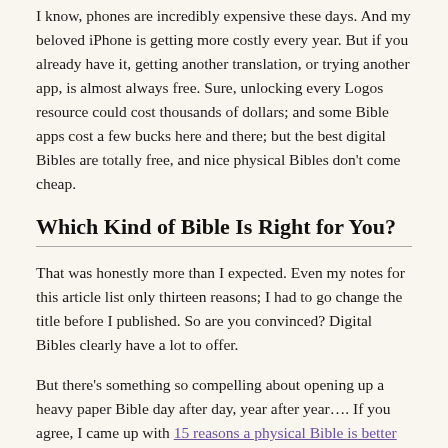I know, phones are incredibly expensive these days. And my beloved iPhone is getting more costly every year. But if you already have it, getting another translation, or trying another app, is almost always free. Sure, unlocking every Logos resource could cost thousands of dollars; and some Bible apps cost a few bucks here and there; but the best digital Bibles are totally free, and nice physical Bibles don't come cheap.
Which Kind of Bible Is Right for You?
That was honestly more than I expected. Even my notes for this article list only thirteen reasons; I had to go change the title before I published. So are you convinced? Digital Bibles clearly have a lot to offer.
But there's something so compelling about opening up a heavy paper Bible day after day, year after year…. If you agree, I came up with 15 reasons a physical Bible is better than a digital one. Read those, and see if you like them better. Or let me know if I